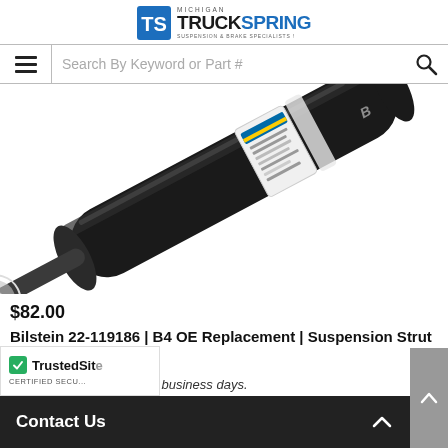Michigan TruckSpring - Suspension & Brake Specialists
Search By Keyword or Part #
[Figure (photo): Close-up photo of a Bilstein shock absorber / suspension strut assembly with a white label, black cylindrical body on white background]
$82.00
Bilstein 22-119186 | B4 OE Replacement | Suspension Strut Assembly
Typically ships in 10 to 14 business days.
Contact Us